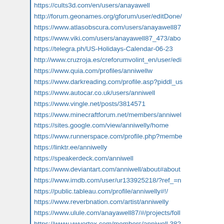https://cults3d.com/en/users/anayawell
http://forum.geonames.org/gforum/user/editDone/
https://www.atlasobscura.com/users/anayawell87
https://www.viki.com/users/anayawell87_473/abo
https://telegra.ph/US-Holidays-Calendar-06-23
http://www.cruzroja.es/creforumvolint_en/user/edi
https://www.quia.com/profiles/anniwellw
https://www.darkreading.com/profile.asp?piddl_us
https://www.autocar.co.uk/users/anniwell
https://www.vingle.net/posts/3814571
https://www.minecraftforum.net/members/anniwel
https://sites.google.com/view/anniwelly/home
https://www.runnerspace.com/profile.php?membe
https://linktr.ee/anniwelly
https://speakerdeck.com/anniwell
https://www.deviantart.com/anniwell/about#about
https://www.imdb.com/user/ur133925218/?ref_=n
https://public.tableau.com/profile/anniwelly#!/
https://www.reverbnation.com/artist/anniwelly
https://www.ulule.com/anayawell87/#/projects/foll
https://www.vwvortex.com/members/anniwell.382
https://www.pearltrees.com/aniwell/item37378940
https://independent.academia.edu/anniwellwell?fr
https://www.dnnsoftware.com/activity-feed/my-pro
https://pro.ideafit.com/profile/anniwell-well